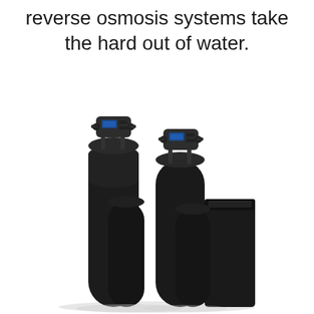reverse osmosis systems take the hard out of water.
[Figure (photo): Product photo of two black reverse osmosis / water softener tank systems with electronic control heads on top, arranged side by side with a brine tank on the right]